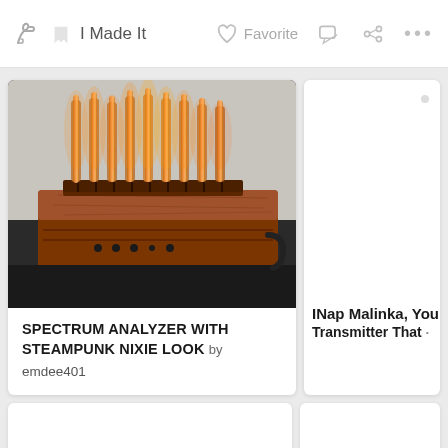I Made It   Favorite   … (nav icons)
[Figure (photo): Wooden spectrum analyzer device with nixie tube steampunk aesthetic — a rectangular wooden box with multiple glowing vacuum tubes/nixie tubes arranged in a row on top, illuminated in orange/red, sitting on a dark surface]
SPECTRUM ANALYZER WITH STEAMPUNK NIXIE LOOK by emdee401
INap Malinka, You Transmitter That
[Figure (other): Partially visible second card on the right side showing text 'INap Malinka, You' and 'Transmitter That']